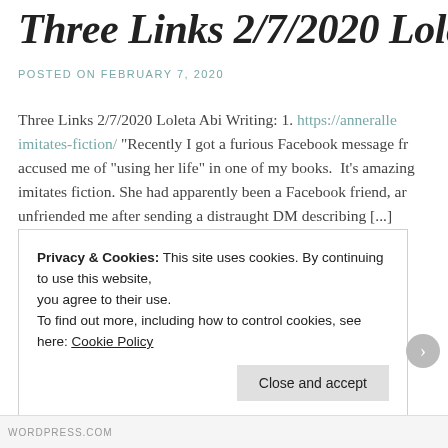Three Links 2/7/2020 Lole
POSTED ON FEBRUARY 7, 2020
Three Links 2/7/2020 Loleta Abi Writing: 1. https://anneralle...imitates-fiction/ "Recently I got a furious Facebook message fr...accused me of "using her life" in one of my books.  It's amazing...imitates fiction. She had apparently been a Facebook friend, ar...unfriended me after sending a distraught DM describing [...]
Posted in Blogs, Christian, Craft, Family Life, Fantasy, Histor...links, Mysteries/Suspense, Reading, Romance, Western, Writ...mystery, poetry, Reading, Romance, short stories, Writing | 4
Privacy & Cookies: This site uses cookies. By continuing to use this website, you agree to their use.
To find out more, including how to control cookies, see here: Cookie Policy
Close and accept